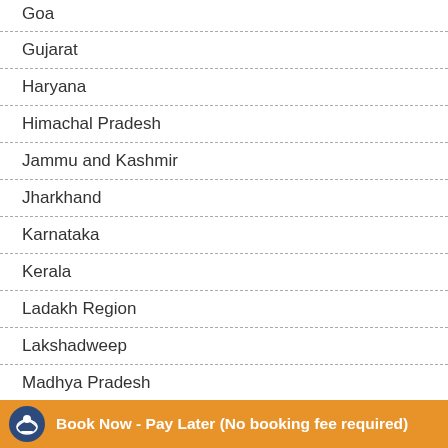Goa
Gujarat
Haryana
Himachal Pradesh
Jammu and Kashmir
Jharkhand
Karnataka
Kerala
Ladakh Region
Lakshadweep
Madhya Pradesh
Maharashtra
Manipur
Book Now - Pay Later (No booking fee required)